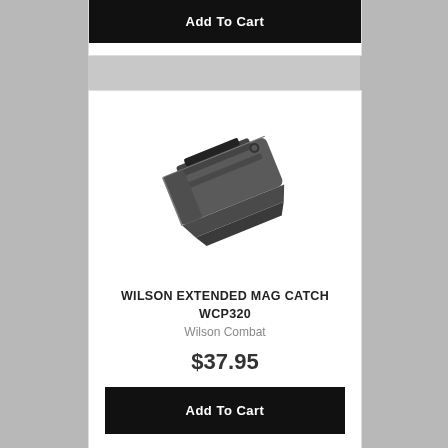Add To Cart
[Figure (photo): Wilson Extended Mag Catch WCP320 product photo — a dark gray/black metal magazine catch component shown at an angle against white background]
WILSON EXTENDED MAG CATCH WCP320
Wilson Combat
$37.95
Add To Cart